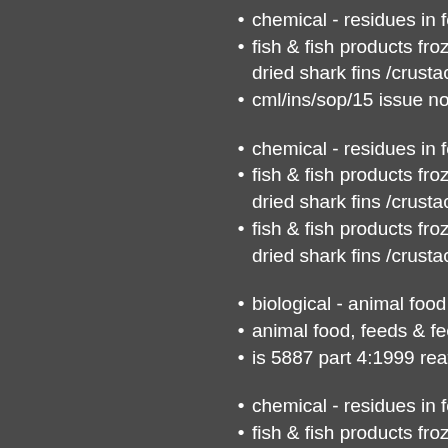chemical - residues in food
fish & fish products frozen / dried shark fins /crustaceans/m
cml/ins/sop/15 issue no & d
chemical - residues in food
fish & fish products frozen / dried shark fins /crustaceans/m
fish & fish products frozen / dried shark fins /crustaceans/m
biological - animal food & fe
animal food, feeds & feedin
is 5887 part 4:1999 reaff. 20
chemical - residues in food
fish & fish products frozen / dried shark fins /crustaceans/m